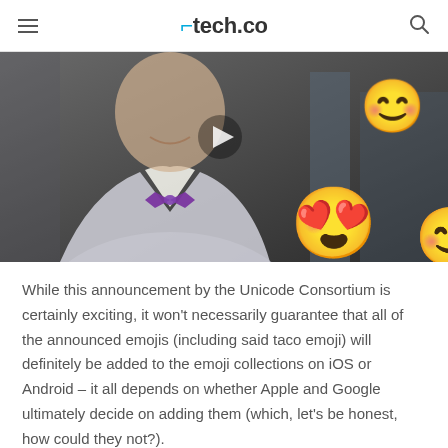tech.co
[Figure (photo): Video thumbnail showing a man in a white jacket and purple bow tie, with emoji overlays including heart-eyes emoji and a smiling emoji, and a play button in the center.]
While this announcement by the Unicode Consortium is certainly exciting, it won't necessarily guarantee that all of the announced emojis (including said taco emoji) will definitely be added to the emoji collections on iOS or Android – it all depends on whether Apple and Google ultimately decide on adding them (which, let's be honest, how could they not?).